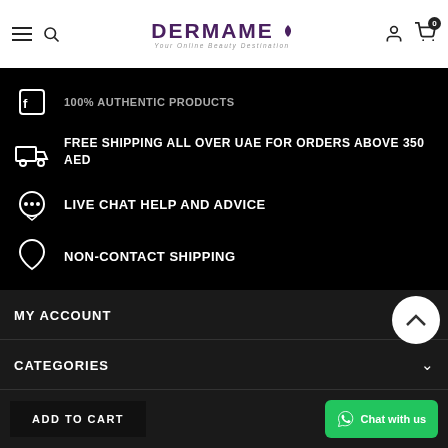DERMAME - Your Online Beauty Destination
100% AUTHENTIC PRODUCTS
FREE SHIPPING ALL OVER UAE FOR ORDERS ABOVE 350 AED
LIVE CHAT HELP AND ADVICE
NON-CONTACT SHIPPING
MY ACCOUNT
CATEGORIES
POPULAR BRANDS
ADD TO CART
Chat with us